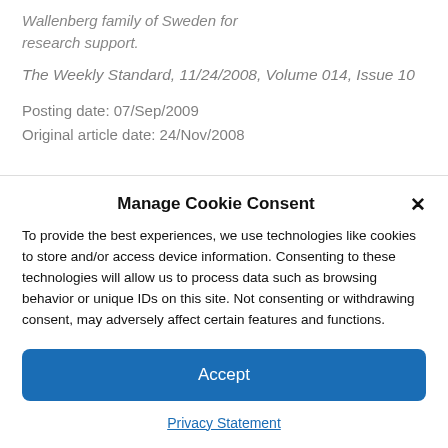Wallenberg family of Sweden for research support.
The Weekly Standard, 11/24/2008, Volume 014, Issue 10
Posting date: 07/Sep/2009
Original article date: 24/Nov/2008
Manage Cookie Consent
To provide the best experiences, we use technologies like cookies to store and/or access device information. Consenting to these technologies will allow us to process data such as browsing behavior or unique IDs on this site. Not consenting or withdrawing consent, may adversely affect certain features and functions.
Accept
Privacy Statement